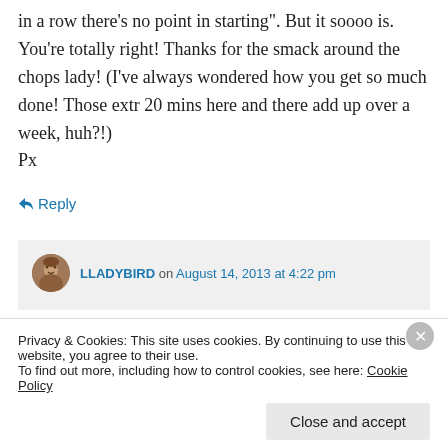in a row there's no point in starting". But it soooo is. You're totally right! Thanks for the smack around the chops lady! (I've always wondered how you get so much done! Those extr 20 mins here and there add up over a week, huh?!) Px
↳ Reply
LLADYBIRD on August 14, 2013 at 4:22 pm
Privacy & Cookies: This site uses cookies. By continuing to use this website, you agree to their use. To find out more, including how to control cookies, see here: Cookie Policy
Close and accept